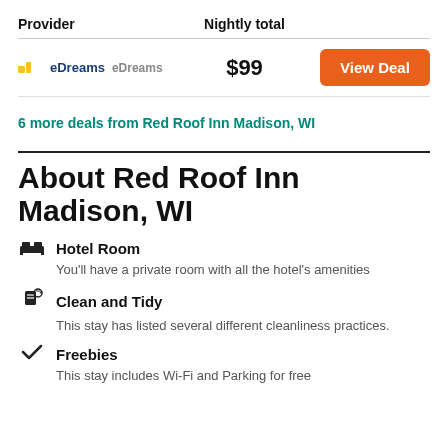| Provider | Nightly total |  |
| --- | --- | --- |
| eDreams eDreams | $99 | View Deal |
6 more deals from Red Roof Inn Madison, WI
About Red Roof Inn Madison, WI
Hotel Room
You'll have a private room with all the hotel's amenities
Clean and Tidy
This stay has listed several different cleanliness practices.
Freebies
This stay includes Wi-Fi and Parking for free